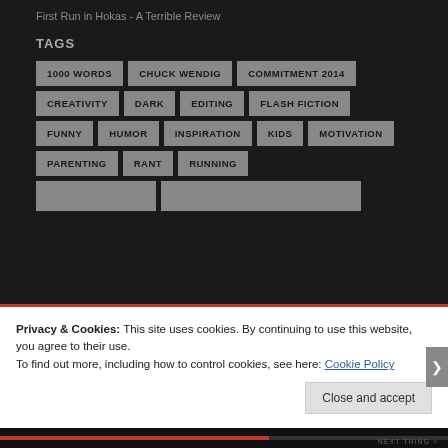First Run in Hokas - A Terrible Review
TAGS
1000 WORDS
CHUCK WENDIG
COMMITMENT 2014
CREATIVITY
DARK
EDITING
FLASH FICTION
FUNNY
HUMOR
INSPIRATION
KIDS
MOTIVATION
PARENTING
RANT
RUNNING
Privacy & Cookies: This site uses cookies. By continuing to use this website, you agree to their use.
To find out more, including how to control cookies, see here: Cookie Policy
Close and accept